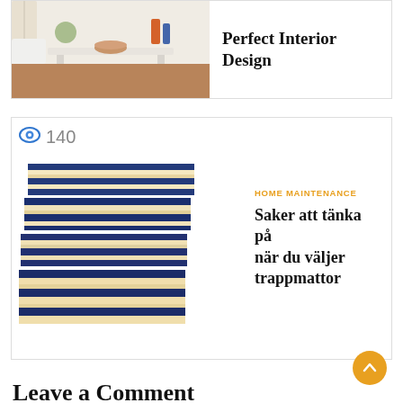[Figure (photo): Photo of a living room with a white coffee table and furniture]
Perfect Interior Design
[Figure (photo): Photo of blue and white striped stair runner rugs stacked]
HOME MAINTENANCE
Saker att tänka på när du väljer trappmattor
Leave a Comment
Comment Text*